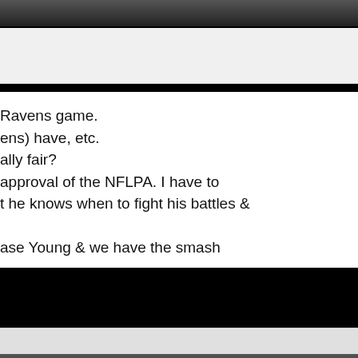#3110
| Join Date: | Aug 2010 |
| Posts: | 27,263 |
| Rep Power: | 556 |
Ravens game.
ens) have, etc.
ally fair?
approval of the NFLPA. I have to
t he knows when to fight his battles &

ase Young & we have the smash
Reply With Quote
#3111
| Join Date: | Feb 2012 |
| Posts: | 25,789 |
| Rep Power: | 488 |
ugh to follow the most basic and